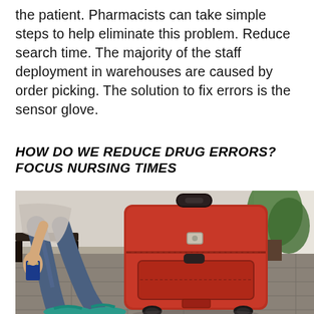the patient. Pharmacists can take simple steps to help eliminate this problem. Reduce search time. The majority of the staff deployment in warehouses are caused by order picking. The solution to fix errors is the sensor glove.
HOW DO WE REDUCE DRUG ERRORS? FOCUS NURSING TIMES
[Figure (photo): A person sitting in what appears to be an airport or transit area, wearing jeans and teal sandals, holding a passport, with a large red rolling suitcase beside them. Green plants and tiled floor visible in the background.]